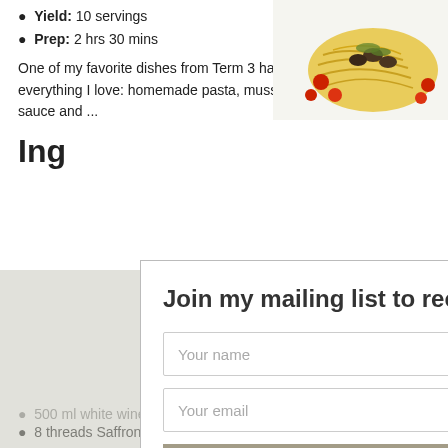Yield: 10 servings
Prep: 2 hrs 30 mins
[Figure (photo): Plate of spaghetti with mussels, tomato sauce and cherry tomatoes]
One of my favorite dishes from Term 3 had to be this. It has everything I love: homemade pasta, mussels, "authentic" tomato sauce and ...
Ing
Join my mailing list to receive yummy updates on my new recipes
Your name
Your email
Subscribe
500 ml white wine
8 threads Saffron